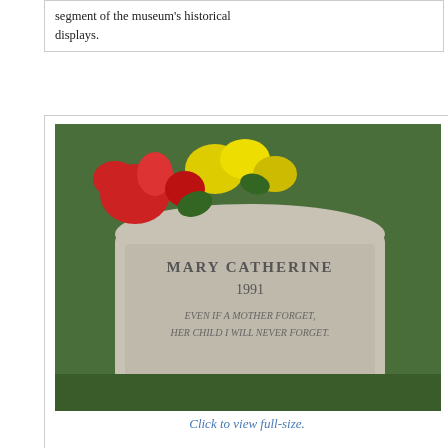segment of the museum's historical displays.
[Figure (photo): Gravestone of Mary Catherine 1991 with flowers, reading 'Even if a mother forget, her child I will never forget']
Click to view full-size.
Mary Catherine was an abandoned newborn, found in Antioch and buried by Ca. Right to Life and Birthright of concord, at Queen of Heaven Cemetery in Lafayette, Ca. along with 24 other pre-born babies.
[Figure (photo): Marine in dress uniform holding a folded American flag]
http://www.renewamerica.com/columns/byrne/17081
[Figure (logo): Facebook share button icon]
Share on Facebook
-Admin
no comments
Anti-spam word: (Required)*
To prove you're a person (not a spam script), type the secu